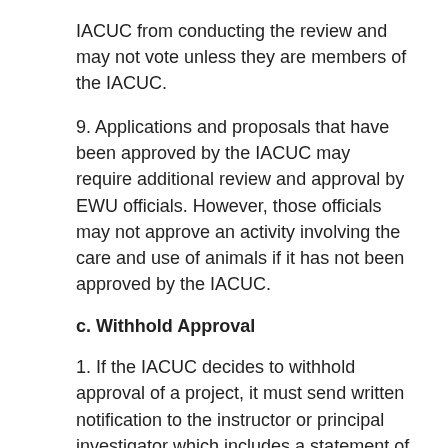IACUC from conducting the review and may not vote unless they are members of the IACUC.
9. Applications and proposals that have been approved by the IACUC may require additional review and approval by EWU officials. However, those officials may not approve an activity involving the care and use of animals if it has not been approved by the IACUC.
c. Withhold Approval
1. If the IACUC decides to withhold approval of a project, it must send written notification to the instructor or principal investigator which includes a statement of the reasons for the decision, and gives the instructor/investigator an opportunity to respond in person or in writing.
2. The IACUC may reconsider its decision, with documentation in IACUC minutes, in light of the information provided by the